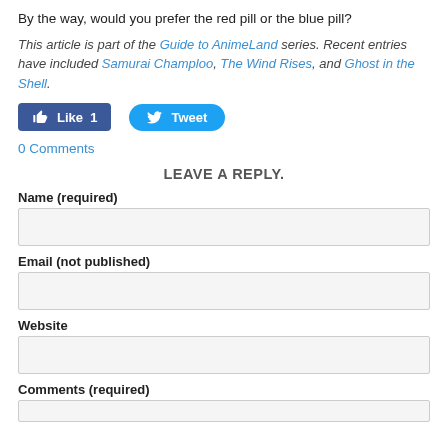By the way, would you prefer the red pill or the blue pill?
This article is part of the Guide to AnimeLand series. Recent entries have included Samurai Champloo, The Wind Rises, and Ghost in the Shell.
[Figure (other): Like and Tweet social media buttons]
0 Comments
LEAVE A REPLY.
Name (required)
Email (not published)
Website
Comments (required)